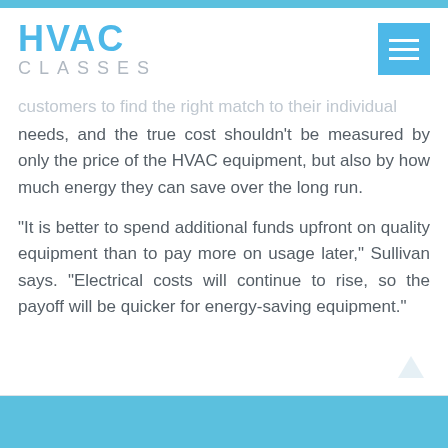HVAC CLASSES
customers to find the right match to their individual needs, and the true cost shouldn't be measured by only the price of the HVAC equipment, but also by how much energy they can save over the long run.
“It is better to spend additional funds upfront on quality equipment than to pay more on usage later,” Sullivan says. “Electrical costs will continue to rise, so the payoff will be quicker for energy-saving equipment.”